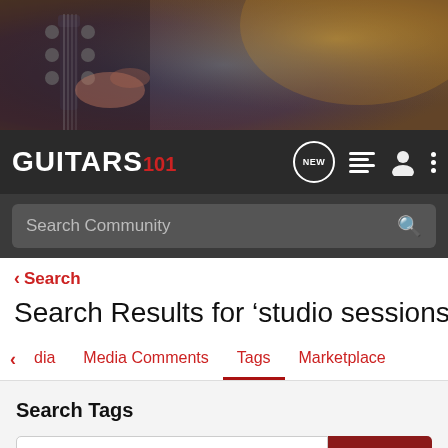[Figure (photo): Hero banner photo of a guitar headstock being played in a studio, warm and cool toned lighting]
GUITARS 101 — navigation bar with NEW chat bubble, list icon, user icon, and menu dots
Search Community
< Search
Search Results for 'studio sessions'
< dia   Media Comments   Tags   Marketplace
Search Tags
✕ studio sessions   Search